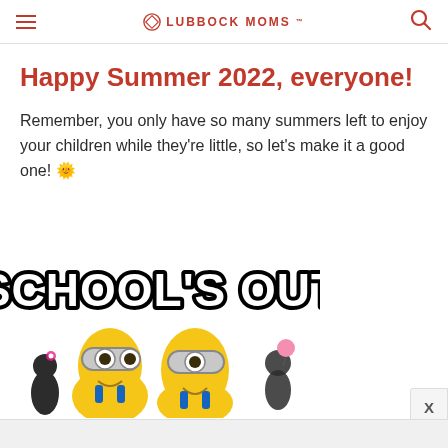LUBBOCK MOMS
Happy Summer 2022, everyone!
Remember, you only have so many summers left to enjoy your children while they're little, so let's make it a good one! 🌞
[Figure (illustration): Minions animated characters with 'SCHOOL'S OUT' text displayed in bold black and white lettering above them. Three minion characters visible with goggles, yellow bodies. A girl and boy minion character on the sides.]